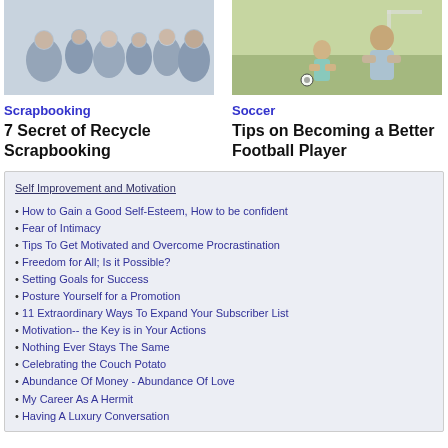[Figure (photo): Group photo of multi-generational family smiling together]
[Figure (photo): Adult man and young child on a soccer/football field]
Scrapbooking
Soccer
7 Secret of Recycle Scrapbooking
Tips on Becoming a Better Football Player
Self Improvement and Motivation
How to Gain a Good Self-Esteem, How to be confident
Fear of Intimacy
Tips To Get Motivated and Overcome Procrastination
Freedom for All; Is it Possible?
Setting Goals for Success
Posture Yourself for a Promotion
11 Extraordinary Ways To Expand Your Subscriber List
Motivation-- the Key is in Your Actions
Nothing Ever Stays The Same
Celebrating the Couch Potato
Abundance Of Money - Abundance Of Love
My Career As A Hermit
Having A Luxury Conversation